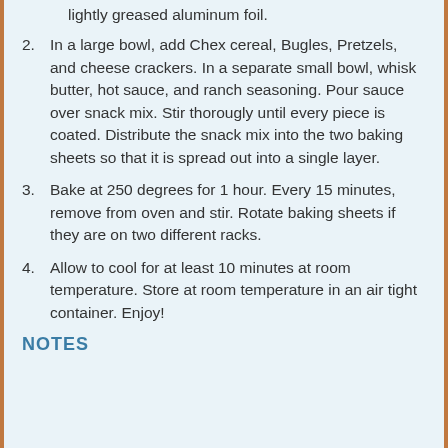lightly greased aluminum foil.
2. In a large bowl, add Chex cereal, Bugles, Pretzels, and cheese crackers. In a separate small bowl, whisk butter, hot sauce, and ranch seasoning. Pour sauce over snack mix. Stir thorougly until every piece is coated. Distribute the snack mix into the two baking sheets so that it is spread out into a single layer.
3. Bake at 250 degrees for 1 hour. Every 15 minutes, remove from oven and stir. Rotate baking sheets if they are on two different racks.
4. Allow to cool for at least 10 minutes at room temperature. Store at room temperature in an air tight container. Enjoy!
NOTES